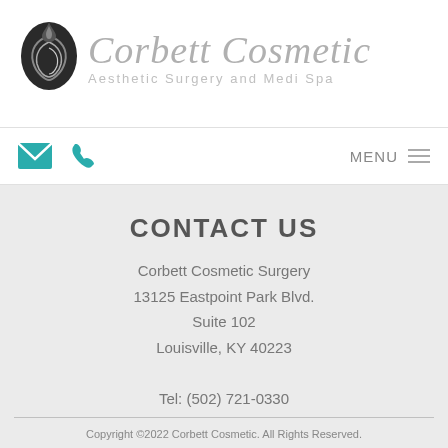[Figure (logo): Corbett Cosmetic logo with circular black swirl icon and script text 'Corbett Cosmetic' with subtitle 'Aesthetic Surgery and Medi Spa']
MENU
CONTACT US
Corbett Cosmetic Surgery
13125 Eastpoint Park Blvd.
Suite 102
Louisville, KY 40223

Tel: (502) 721-0330
Copyright ©2022 Corbett Cosmetic. All Rights Reserved.